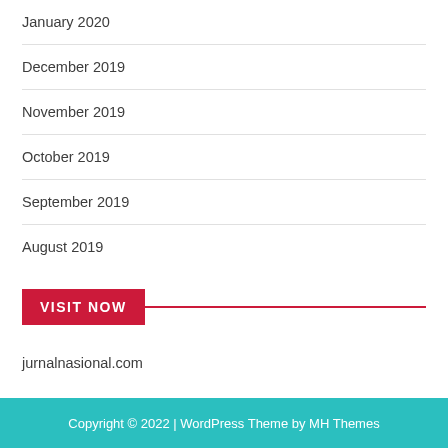January 2020
December 2019
November 2019
October 2019
September 2019
August 2019
VISIT NOW
jurnalnasional.com
bca6a27eeceab158f94b63fe6887787484f2b2fe.txt
Copyright © 2022 | WordPress Theme by MH Themes